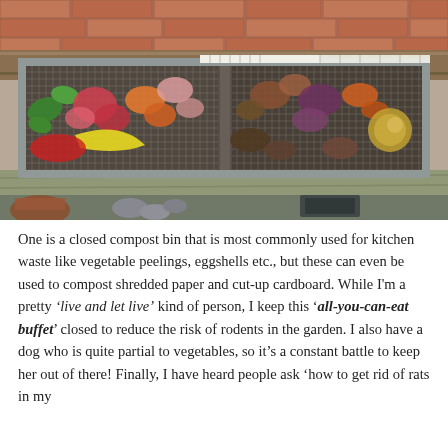[Figure (photo): Photograph of a wire mesh compost tray with two sections sitting on a wooden surface, containing food scraps including banana peel, vegetables, and other organic matter. A brick wall is visible in the background.]
One is a closed compost bin that is most commonly used for kitchen waste like vegetable peelings, eggshells etc., but these can even be used to compost shredded paper and cut-up cardboard. While I'm a pretty ‘live and let live’ kind of person, I keep this ‘all-you-can-eat buffet’ closed to reduce the risk of rodents in the garden. I also have a dog who is quite partial to vegetables, so it’s a constant battle to keep her out of there! Finally, I have heard people ask ‘how to get rid of rats in my